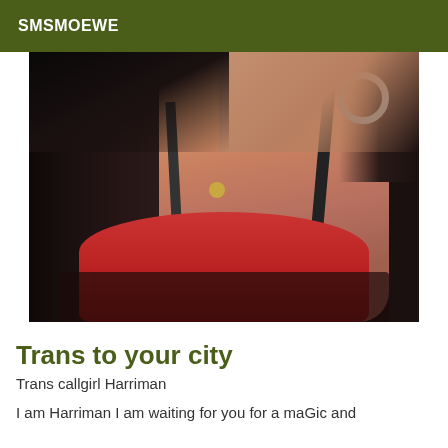SMSMOEWE
[Figure (photo): A person with long dark hair wearing a red bra with dark lace trim and a gold necklace, with a hoop earring visible. Selfie-style photo cropped from shoulders up.]
Trans to your city
Trans callgirl Harriman
I am Harriman I am waiting for you for a maGic and